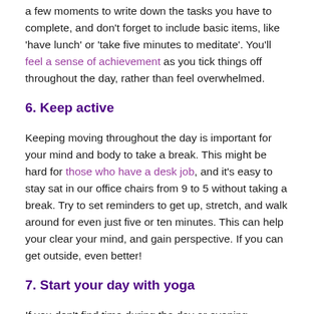a few moments to write down the tasks you have to complete, and don't forget to include basic items, like 'have lunch' or 'take five minutes to meditate'. You'll feel a sense of achievement as you tick things off throughout the day, rather than feel overwhelmed.
6. Keep active
Keeping moving throughout the day is important for your mind and body to take a break. This might be hard for those who have a desk job, and it's easy to stay sat in our office chairs from 9 to 5 without taking a break. Try to set reminders to get up, stretch, and walk around for even just five or ten minutes. This can help your clear your mind, and gain perspective. If you can get outside, even better!
7. Start your day with yoga
If you don't find time during the day or evening, consider moving your yoga practice to the morning. This week's